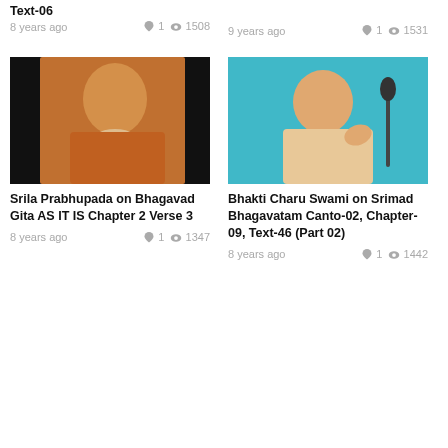Text-06
8 years ago  ♥ 1  👁 1508
9 years ago  ♥ 1  👁 1531
[Figure (photo): Photo of Srila Prabhupada, a spiritual leader, sitting cross-legged on dark background wearing orange robes]
Srila Prabhupada on Bhagavad Gita AS IT IS Chapter 2 Verse 3
8 years ago  ♥ 1  👁 1347
[Figure (photo): Photo of Bhakti Charu Swami, a spiritual leader, speaking with a microphone on teal/turquoise background]
Bhakti Charu Swami on Srimad Bhagavatam Canto-02, Chapter-09, Text-46 (Part 02)
8 years ago  ♥ 1  👁 1442